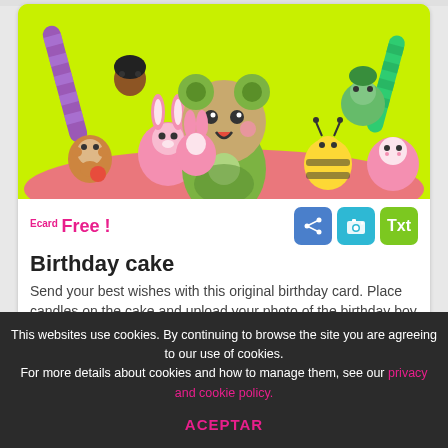[Figure (illustration): Colorful kawaii cartoon characters — cute animals wearing costumes including a tiger, rabbit, monkey, bee, frog, on a bright green background with candy decorations]
Ecard Free !
Birthday cake
Send your best wishes with this original birthday card. Place candles on the cake and upload your photo of the birthday boy or girl for a special surprise!
This websites use cookies. By continuing to browse the site you are agreeing to our use of cookies. For more details about cookies and how to manage them, see our privacy and cookie policy.
ACEPTAR